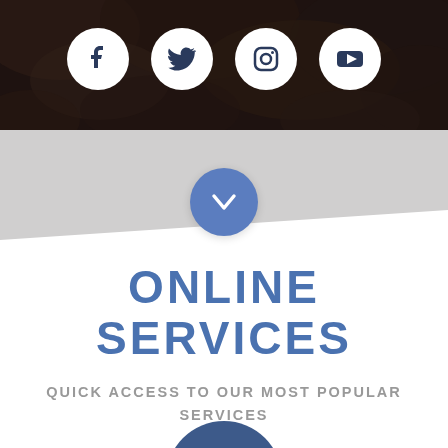[Figure (screenshot): Dark background photo of trees/foliage with four white circular social media icons (Facebook, Twitter, Instagram, YouTube) centered horizontally]
[Figure (illustration): Gray diagonal band with a blue circular button containing a downward chevron/arrow]
ONLINE SERVICES
QUICK ACCESS TO OUR MOST POPULAR SERVICES
[Figure (illustration): Partial blue circle at bottom of page, partially cut off]